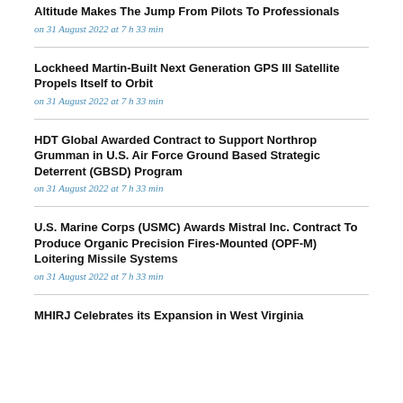Altitude Makes The Jump From Pilots To Professionals
on 31 August 2022 at 7 h 33 min
Lockheed Martin-Built Next Generation GPS III Satellite Propels Itself to Orbit
on 31 August 2022 at 7 h 33 min
HDT Global Awarded Contract to Support Northrop Grumman in U.S. Air Force Ground Based Strategic Deterrent (GBSD) Program
on 31 August 2022 at 7 h 33 min
U.S. Marine Corps (USMC) Awards Mistral Inc. Contract To Produce Organic Precision Fires-Mounted (OPF-M) Loitering Missile Systems
on 31 August 2022 at 7 h 33 min
MHIRJ Celebrates its Expansion in West Virginia